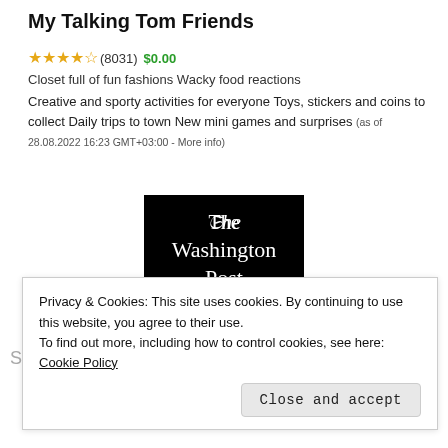My Talking Tom Friends
★★★★☆ (8031) $0.00 Closet full of fun fashions Wacky food reactions Creative and sporty activities for everyone Toys, stickers and coins to collect Daily trips to town New mini games and surprises (as of 28.08.2022 16:23 GMT+03:00 - More info)
[Figure (logo): The Washington Post Digital Access logo — black background with white Gothic-style masthead text 'The Washington Post', blue bar below with white text 'Digital Access']
Privacy & Cookies: This site uses cookies. By continuing to use this website, you agree to their use.
To find out more, including how to control cookies, see here: Cookie Policy
Close and accept